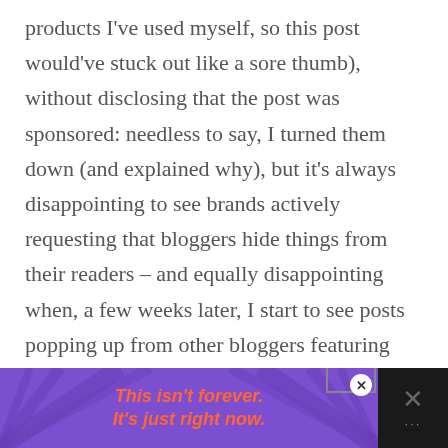products I've used myself, so this post would've stuck out like a sore thumb), without disclosing that the post was sponsored: needless to say, I turned them down (and explained why), but it's always disappointing to see brands actively requesting that bloggers hide things from their readers – and equally disappointing when, a few weeks later, I start to see posts popping up from other bloggers featuring
[Figure (other): Advertisement banner with purple background, diagonal ray lines, and orange italic text reading 'This isn't forever. It's just right now.' with a close button and dark right panel with X icon.]